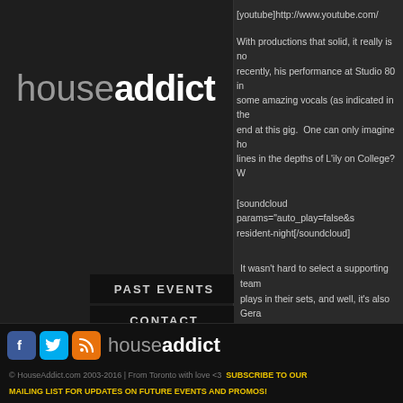[Figure (logo): House Addict logo in dark sidebar, light and bold contrast lettering]
PAST EVENTS
CONTACT
[youtube]http://www.youtube.com/
With productions that solid, it really is no... recently, his performance at Studio 80 in some amazing vocals (as indicated in the end at this gig.  One can only imagine ho... lines in the depths of L'ily on College?  W...
[soundcloud params="auto_play=false&s... resident-night[/soundcloud]
It wasn't hard to select a supporting team... plays in their sets, and well, it's also Gera...  The team is as follows:
[Figure (logo): House Addict footer logo with social media icons for Facebook, Twitter, RSS]
© HouseAddict.com 2003-2016 | From Toronto with love <3   SUBSCRIBE TO OUR MAILING LIST FOR UPDATES ON FUTURE EVENTS AND PROMOS!